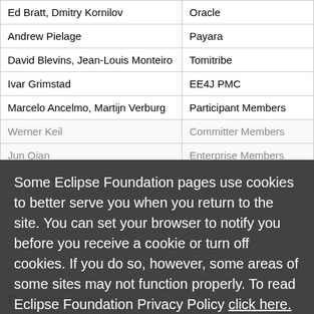| Name | Organization |
| --- | --- |
| Ed Bratt, Dmitry Kornilov | Oracle |
| Andrew Pielage | Payara |
| David Blevins, Jean-Louis Monteiro | Tomitribe |
| Ivar Grimstad | EE4J PMC |
| Marcelo Ancelmo, Martijn Verburg | Participant Members |
| Werner Keil | Committer Members |
| Jun Qian | Enterprise Members |
| Zhai Luchao | Enterprise Members |
Some Eclipse Foundation pages use cookies to better serve you when you return to the site. You can set your browser to notify you before you receive a cookie or turn off cookies. If you do so, however, some areas of some sites may not function properly. To read Eclipse Foundation Privacy Policy click here.
Andrew Pielage
Java Developer at Payara Services Ltd
Supported Enterprise Software for Jakarta EE and MicroProfile Applications
From: Andrew Pielage